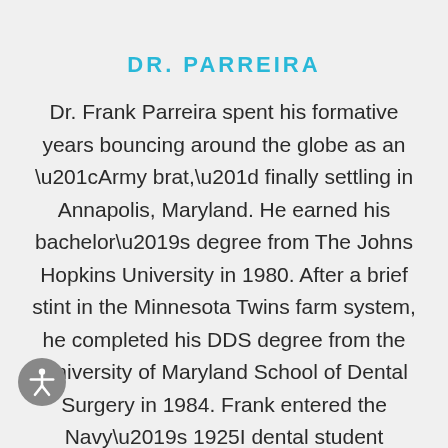DR. PARREIRA
Dr. Frank Parreira spent his formative years bouncing around the globe as an “Army brat,” finally settling in Annapolis, Maryland. He earned his bachelor’s degree from The Johns Hopkins University in 1980. After a brief stint in the Minnesota Twins farm system, he completed his DDS degree from the University of Maryland School of Dental Surgery in 1984. Frank entered the Navy’s 1925I dental student program during his